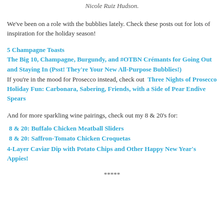Nicole Ruiz Hudson.
We've been on a role with the bubblies lately. Check these posts out for lots of inspiration for the holiday season!
5 Champagne Toasts
The Big 10, Champagne, Burgundy, and #OTBN Crémants for Going Out and Staying In (Psst! They're Your New All-Purpose Bubblies!)
If you're in the mood for Prosecco instead, check out  Three Nights of Prosecco Holiday Fun: Carbonara, Sabering, Friends, with a Side of Pear Endive Spears
And for more sparkling wine pairings, check out my 8 & 20's for:
8 & 20: Buffalo Chicken Meatball Sliders
8 & 20: Saffron-Tomato Chicken Croquetas
4-Layer Caviar Dip with Potato Chips and Other Happy New Year's Appies!
*****